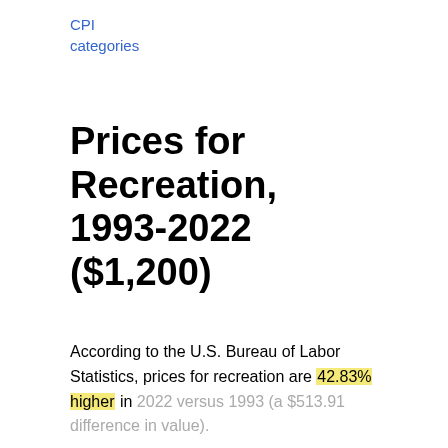CPI categories
Prices for Recreation, 1993-2022 ($1,200)
According to the U.S. Bureau of Labor Statistics, prices for recreation are 42.83% higher in 2022 versus 1993 (a $513.91 difference in value).